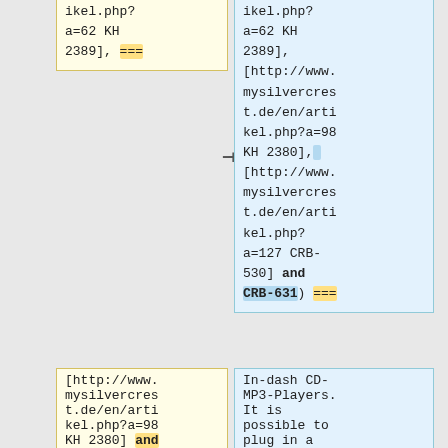ikel.php?a=62 KH 2389], === (deleted marker)
ikel.php?a=62 KH 2389], [http://www.mysilvercrest.de/en/artikel.php?a=98 KH 2380], [http://www.mysilvercrest.de/en/artikel.php?a=127 CRB-530] and CRB-631) ===
[http://www.mysilvercrest.de/en/artikel.php?a=98 KH 2380] and [http://www.mysilvercres...
In-dash CD-MP3-Players. It is possible to plug in a USB stick and SD card...